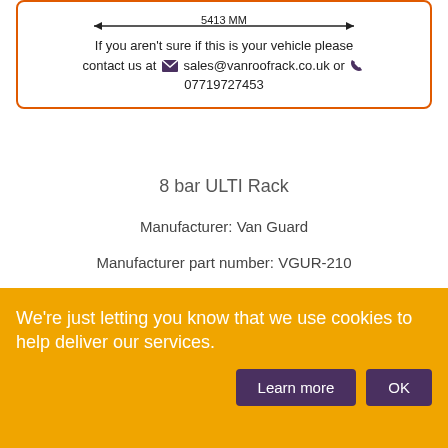[Figure (other): Dimension diagram showing 5413 MM width with a double-headed arrow inside an orange-bordered box, along with contact text: 'If you aren't sure if this is your vehicle please contact us at sales@vanroofrack.co.uk or 07719727453']
8 bar ULTI Rack
Manufacturer: Van Guard
Manufacturer part number: VGUR-210
RRP: £805.28 incl VAT
Price: £500.99 incl VAT
1  ADD TO BASKET
We're just letting you know that we use cookies to help deliver our services.
Learn more
OK